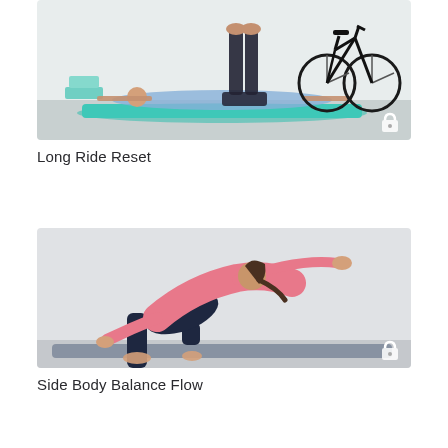[Figure (photo): A person lying on their back on a teal yoga mat with legs raised vertically against a wall, arms extended. Teal yoga blocks are visible to the left. A road bicycle is mounted on the wall to the right. The setting is a white room with a gray floor.]
Long Ride Reset
[Figure (photo): A woman in a pink tank top and navy leggings performing a side-body stretch on a gray yoga mat. She is in a kneeling lunge position with her upper body arched sideways and one arm extended overhead, facing the camera. The setting is a light gray background.]
Side Body Balance Flow